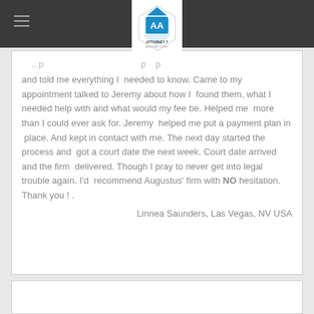Attorney T - navigation header with logo
and told me everything I needed to know. Came to my appointment talked to Jeremy about how I found them, what I needed help with and what would my fee be. Helped me more than I could ever ask for. Jeremy helped me put a payment plan in place. And kept in contact with me. The next day started the process and got a court date the next week. Court date arrived and the firm delivered. Though I pray to never get into legal trouble again. I'd recommend Augustus' firm with NO hesitation. Thank you ! .
Linnea Saunders, Las Vegas, NV USA